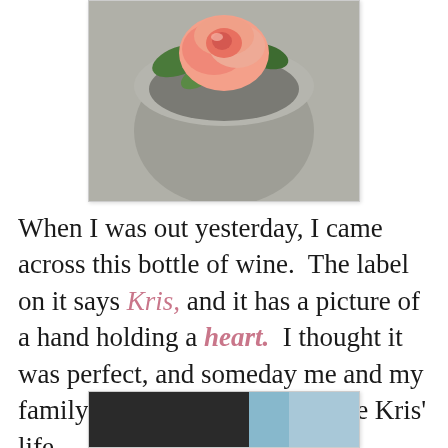[Figure (photo): A pink rose sitting in a round concrete or stone pot, viewed from above, photographed outdoors on a concrete surface.]
When I was out yesterday, I came across this bottle of wine.  The label on it says Kris, and it has a picture of a hand holding a heart.  I thought it was perfect, and someday me and my family will open it and celebrate Kris' life.
[Figure (photo): Partial photo at the bottom of the page, showing what appears to be a dark-clothed person and a light blue background, cropped.]